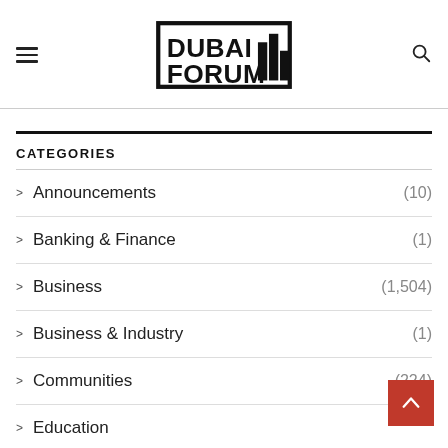Dubai Forum — navigation header with hamburger menu and search icon
CATEGORIES
Announcements (10)
Banking & Finance (1)
Business (1,504)
Business & Industry (1)
Communities (224)
Education